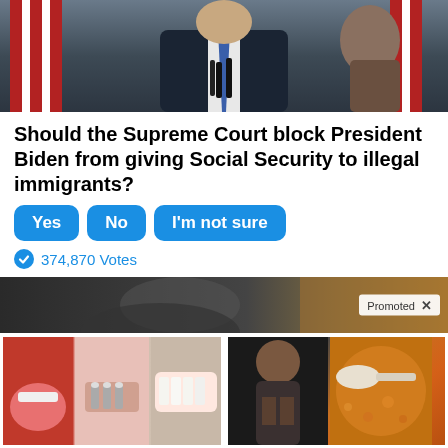[Figure (photo): Photo of a man in a dark suit at a podium with microphones, American flags in the background]
Should the Supreme Court block President Biden from giving Social Security to illegal immigrants?
Yes
No
I'm not sure
374,870 Votes
[Figure (photo): Promoted content banner showing a partially visible person]
[Figure (photo): Ad image showing dental implant procedure photos]
Think Dental Implants Are Expensive? Think Again (See Prices)
14,847
[Figure (photo): Ad image showing a person and spices/powder]
A Teaspoon On An Empty Stomach Burns Fat Like Crazy!
126,236